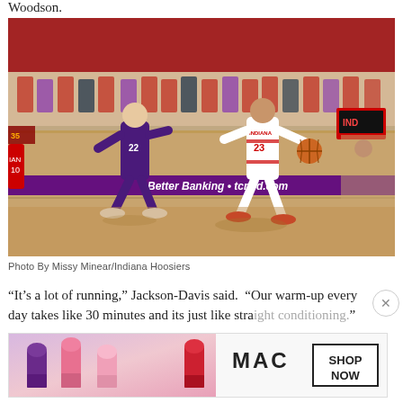Woodson.
[Figure (photo): Indiana Hoosiers player #23 in white uniform dribbling basketball past a Northwestern player in purple uniform on an indoor basketball court with cardboard fan cutouts in the stands.]
Photo By Missy Minear/Indiana Hoosiers
“It’s a lot of running,” Jackson-Davis said.  “Our warm-up every day takes like 30 minutes and its just like straight conditioning.”
[Figure (photo): MAC cosmetics advertisement showing lipsticks in purple, pink, and red with MAC logo and SHOP NOW button]
That end.  From the moment the ball tips next month, fans